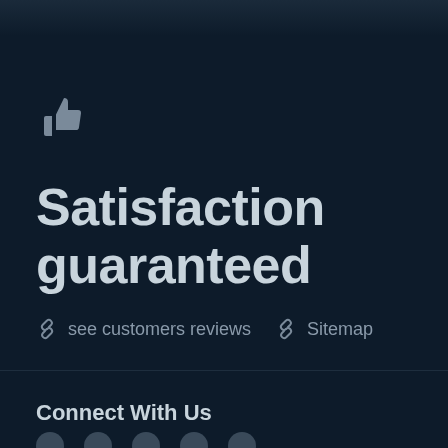[Figure (illustration): Thumbs up icon in gray color]
Satisfaction guaranteed
🔗 see customers reviews  🔗 Sitemap
Connect With Us